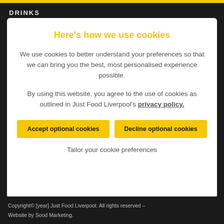DRINKS
Here's how we use cookies
We use cookies to better understand your preferences so that we can bring you the best, most personalised experience possible.
By using this website, you agree to the use of cookies as outlined in Just Food Liverpool's privacy policy.
Accept optional cookies
Decline optional cookies
Tailor your cookie preferences
Copyright© [year] Just Food Liverpool. All rights reserved – Website by Sood Marketing.